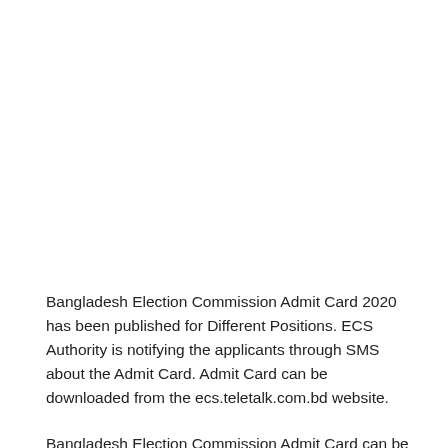Bangladesh Election Commission Admit Card 2020 has been published for Different Positions. ECS Authority is notifying the applicants through SMS about the Admit Card. Admit Card can be downloaded from the ecs.teletalk.com.bd website.
Bangladesh Election Commission Admit Card can be Downloaded from Recruitment Tests Bangladesh Election...